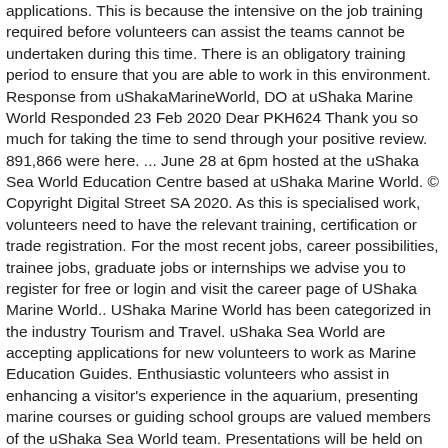applications. This is because the intensive on the job training required before volunteers can assist the teams cannot be undertaken during this time. There is an obligatory training period to ensure that you are able to work in this environment. Response from uShakaMarineWorld, DO at uShaka Marine World Responded 23 Feb 2020 Dear PKH624 Thank you so much for taking the time to send through your positive review. 891,866 were here. ... June 28 at 6pm hosted at the uShaka Sea World Education Centre based at uShaka Marine World. © Copyright Digital Street SA 2020. As this is specialised work, volunteers need to have the relevant training, certification or trade registration. For the most recent jobs, career possibilities, trainee jobs, graduate jobs or internships we advise you to register for free or login and visit the career page of UShaka Marine World.. UShaka Marine World has been categorized in the industry Tourism and Travel. uShaka Sea World are accepting applications for new volunteers to work as Marine Education Guides. Enthusiastic volunteers who assist in enhancing a visitor's experience in the aquarium, presenting marine courses or guiding school groups are valued members of the uShaka Sea World team. Presentations will be held on Tuesday, June 27 at 10am and on Wednesday, June 28 at 6pm hosted at the uShaka Sea World Education Centre based at uShaka Marine World. Discover the world through photos. We bring together cultures, like no other place in Africa – into a safe, secure and clean environment that resonates the sound of fun, laughter and the